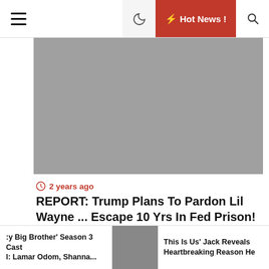≡  🌙  ⚡ Hot News !  🔍
[Figure (photo): Gray banner image placeholder at top of article]
🕐 2 years ago
REPORT: Trump Plans To Pardon Lil Wayne ... Escape 10 Yrs In Fed Prison!
[Figure (photo): Photo of a man and woman smiling at camera, background shows 'America' and 'ERASE MS' signage with red heart logo]
Celebrity Big Brother' Season 3 Cast Reveal: Lamar Odom, Shanna...
[Figure (photo): Small thumbnail photo of a man with beard]
This Is Us' Jack Reveals Heartbreaking Reason He